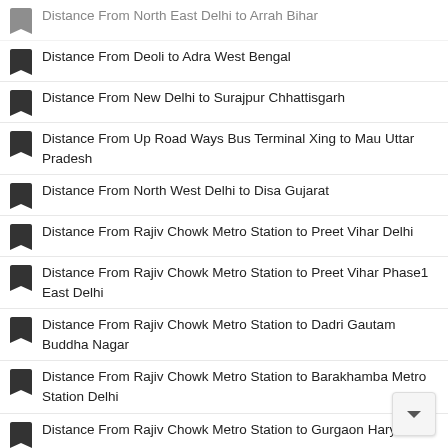Distance From North East Delhi to Arrah Bihar
Distance From Deoli to Adra West Bengal
Distance From New Delhi to Surajpur Chhattisgarh
Distance From Up Road Ways Bus Terminal Xing to Mau Uttar Pradesh
Distance From North West Delhi to Disa Gujarat
Distance From Rajiv Chowk Metro Station to Preet Vihar Delhi
Distance From Rajiv Chowk Metro Station to Preet Vihar Phase1 East Delhi
Distance From Rajiv Chowk Metro Station to Dadri Gautam Buddha Nagar
Distance From Rajiv Chowk Metro Station to Barakhamba Metro Station Delhi
Distance From Rajiv Chowk Metro Station to Gurgaon Haryana
Distance From Rajiv Chowk Metro Station to Patel Chowk Delhi
Distance From Rajiv Chowk Metro Station to Central